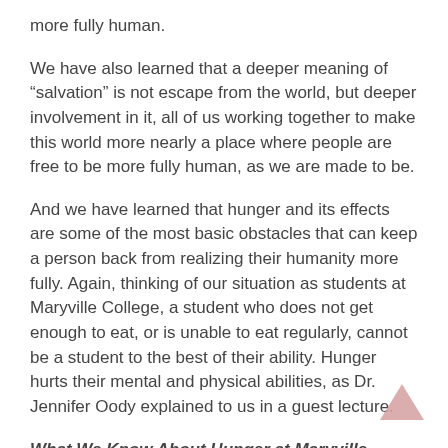more fully human.
We have also learned that a deeper meaning of “salvation” is not escape from the world, but deeper involvement in it, all of us working together to make this world more nearly a place where people are free to be more fully human, as we are made to be.
And we have learned that hunger and its effects are some of the most basic obstacles that can keep a person back from realizing their humanity more fully. Again, thinking of our situation as students at Maryville College, a student who does not get enough to eat, or is unable to eat regularly, cannot be a student to the best of their ability. Hunger hurts their mental and physical abilities, as Dr. Jennifer Oody explained to us in a guest lecture.
What We Know About Hunger at Maryville College: